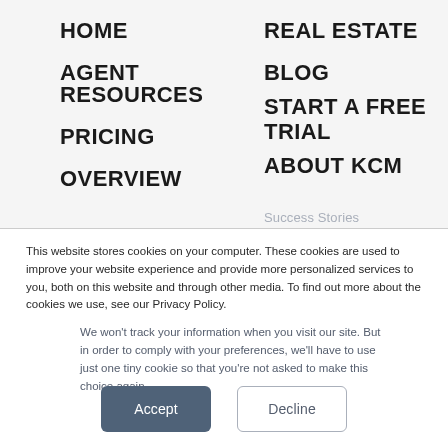HOME
AGENT RESOURCES
PRICING
OVERVIEW
REAL ESTATE
BLOG
START A FREE TRIAL
ABOUT KCM
Success Stories
This website stores cookies on your computer. These cookies are used to improve your website experience and provide more personalized services to you, both on this website and through other media. To find out more about the cookies we use, see our Privacy Policy.
We won't track your information when you visit our site. But in order to comply with your preferences, we'll have to use just one tiny cookie so that you're not asked to make this choice again.